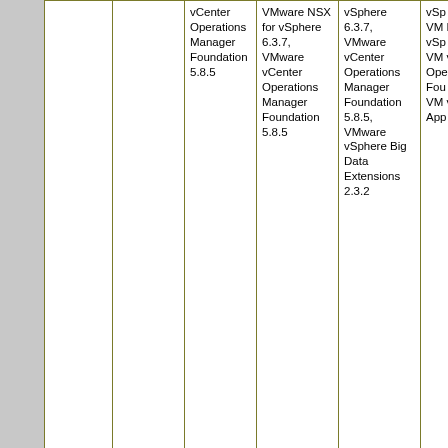| Версия | Essentials kit | Essentials Plus | Standard | Enterprise | En... |
| --- | --- | --- | --- | --- | --- |
|  |  | vCenter Operations Manager Foundation 5.8.5 | VMware NSX for vSphere 6.3.7, VMware vCenter Operations Manager Foundation 5.8.5 | vSphere 6.3.7, VMware vCenter Operations Manager Foundation 5.8.5, VMware vSphere Big Data Extensions 2.3.2 | vSp 5.5. VM NSX vSp 6.3. VM vCe Ope Ma Fou 5.8. VM vSp App 1.1. |
|  |  |  | VMware ESXi 6.0 U3a, VMware | VMware ESXi 6.0 U3a, VMware vCenter Server 6.0... | VM ESX U3 VM vC Se 6.0 VM vC |